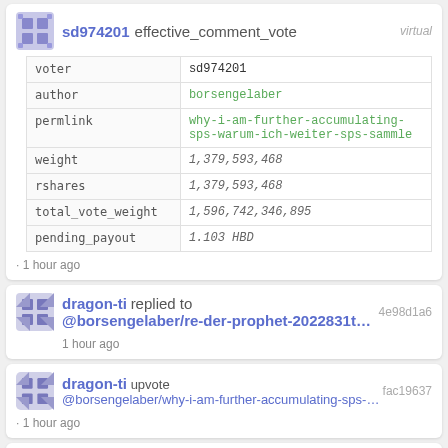| voter | author | permlink | weight | rshares | total_vote_weight | pending_payout |
| --- | --- | --- | --- | --- | --- | --- |
| voter | sd974201 |
| author | borsengelaber |
| permlink | why-i-am-further-accumulating-sps-warum-ich-weiter-sps-sammle |
| weight | 1,379,593,468 |
| rshares | 1,379,593,468 |
| total_vote_weight | 1,596,742,346,895 |
| pending_payout | 1.103 HBD |
· 1 hour ago
dragon-ti replied to @borsengelaber/re-der-prophet-2022831t1615.
1 hour ago
dragon-ti upvote @borsengelaber/why-i-am-further-accumulating-sps-w...
· 1 hour ago
| voter | author |
| --- | --- |
| voter | dragon-ti |
| author | borsengelaber |